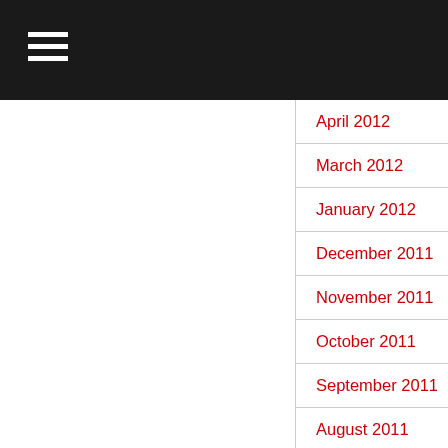April 2012
March 2012
January 2012
December 2011
November 2011
October 2011
September 2011
August 2011
July 2011
June 2011
April 2011
March 2011
January 2011
December 2010
November 2010
October 2010